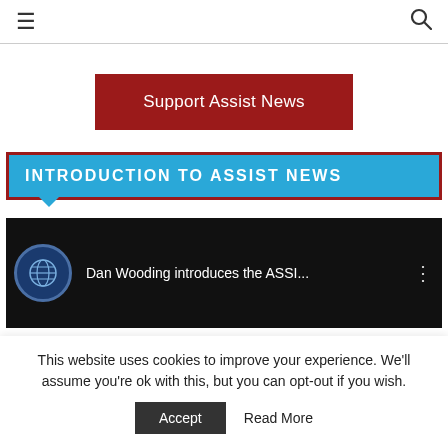≡  🔍
Support Assist News
INTRODUCTION TO ASSIST NEWS
[Figure (screenshot): Video thumbnail with globe icon, title 'Dan Wooding introduces the ASSI...' and three-dot menu icon, with a person visible in the background.]
This website uses cookies to improve your experience. We'll assume you're ok with this, but you can opt-out if you wish.
Accept   Read More